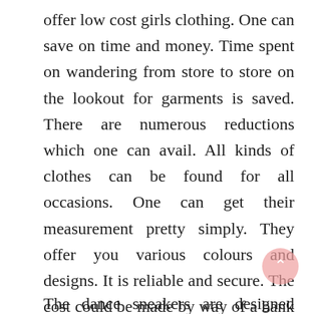offer low cost girls clothing. One can save on time and money. Time spent on wandering from store to store on the lookout for garments is saved. There are numerous reductions which one can avail. All kinds of clothes can be found for all occasions. One can get their measurement pretty simply. They offer you various colours and designs. It is reliable and secure. The cost could be made by way of a bank card or it's possible you'll choose to pay cash on delivery. The garments are delivered proper at your step.
The dance sneakers are designed protecting